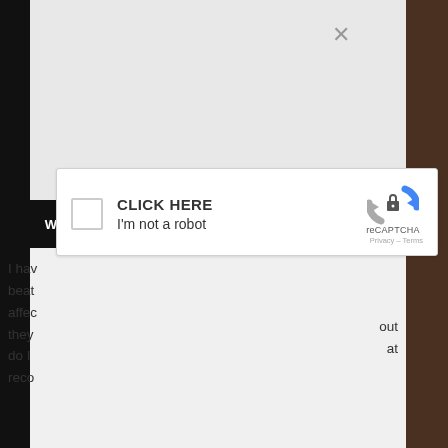[Figure (screenshot): reCAPTCHA dialog overlay with 'CLICK HERE / I'm not a robot' checkbox, a close (X) button, and partial webpage text visible underneath.]
I hav
beat
affec
they
do I
reco